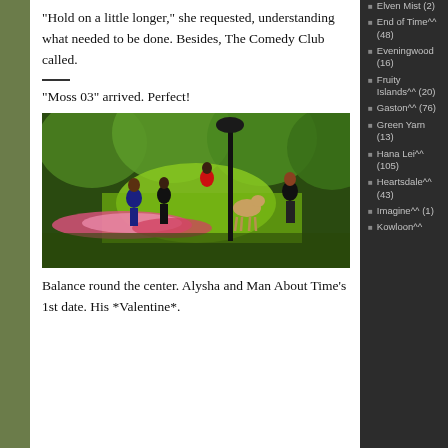“Hold on a little longer,” she requested, understanding what needed to be done. Besides, The Comedy Club called.
“Moss 03” arrived. Perfect!
[Figure (photo): A virtual world scene showing characters in a park-like setting with green trees, pink flowers, a lamp post, and a deer.]
Balance round the center. Alysha and Man About Time’s 1st date. His *Valentine*.
Elven Mist (2)
End of Time^^ (48)
Eveningwood (16)
Fruity Islands^^ (20)
Gaston^^ (76)
Green Yarn (13)
Hana Lei^^ (105)
Heartsdale^^ (43)
Imagine^^ (1)
Kowloon^^